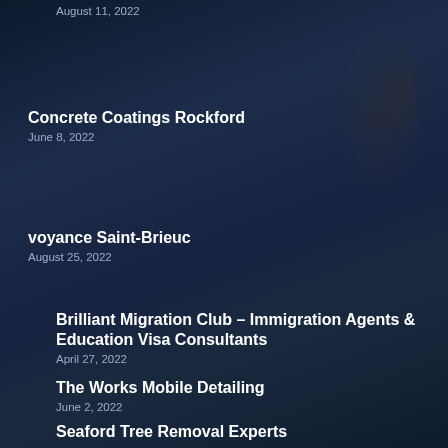August 11, 2022
Concrete Coatings Rockford
June 8, 2022
voyance Saint-Brieuc
August 25, 2022
Brilliant Migration Club – Immigration Agents & Education Visa Consultants
April 27, 2022
The Works Mobile Detailing
June 2, 2022
Seaford Tree Removal Experts